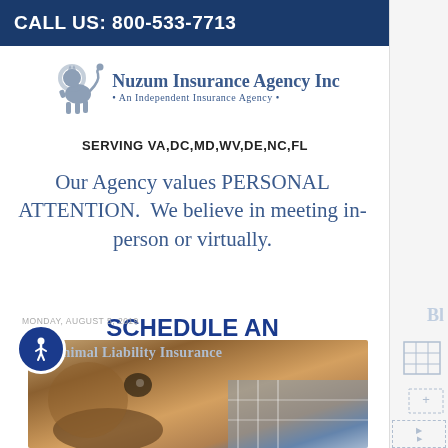CALL US: 800-533-7713
[Figure (logo): Nuzum Insurance Agency Inc logo with lion and text 'An Independent Insurance Agency']
SERVING VA,DC,MD,WV,DE,NC,FL
Our Agency values PERSONAL ATTENTION.  We believe in meeting in-person or virtually.
SCHEDULE AN APPOINTMENT
MONDAY, AUGUST 5, 2019
Animal Liability Insurance
[Figure (photo): Close-up photo of a dog's face with a person in plaid shirt in background]